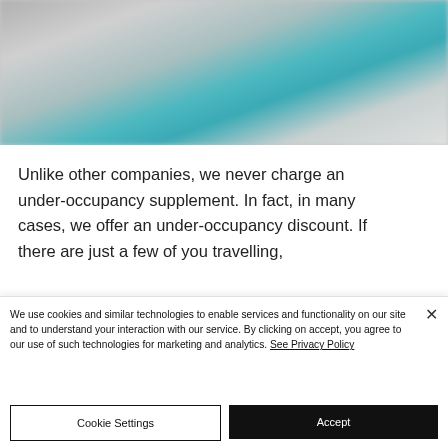[Figure (photo): Blurred photo of what appears to be a pool or travel scene with teal/blue water and blurred objects in the background]
Unlike other companies, we never charge an under-occupancy supplement. In fact, in many cases, we offer an under-occupancy discount. If there are just a few of you travelling,
We use cookies and similar technologies to enable services and functionality on our site and to understand your interaction with our service. By clicking on accept, you agree to our use of such technologies for marketing and analytics. See Privacy Policy
Cookie Settings
Accept